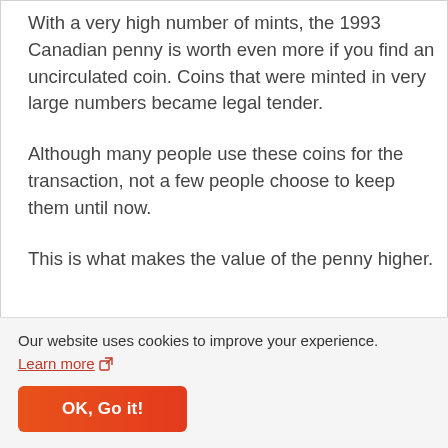With a very high number of mints, the 1993 Canadian penny is worth even more if you find an uncirculated coin. Coins that were minted in very large numbers became legal tender.
Although many people use these coins for the transaction, not a few people choose to keep them until now.
This is what makes the value of the penny higher.
Our website uses cookies to improve your experience. Learn more
OK, Go it!